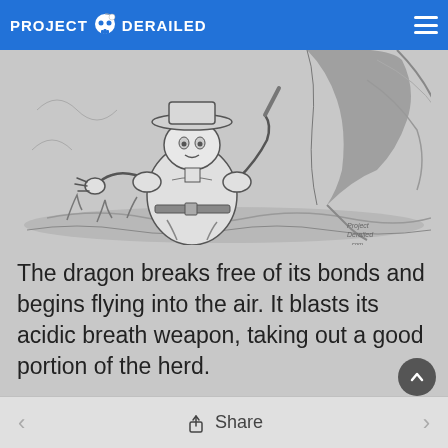PROJECT DERAILED
[Figure (illustration): Black and white sketch illustration of a muscular cowboy/adventurer figure holding a weapon, facing a large creature (dragon leg/foot visible), with water or ground splashing around them. Artist signature visible in lower right.]
The dragon breaks free of its bonds and begins flying into the air. It blasts its acidic breath weapon, taking out a good portion of the herd.
< Share >